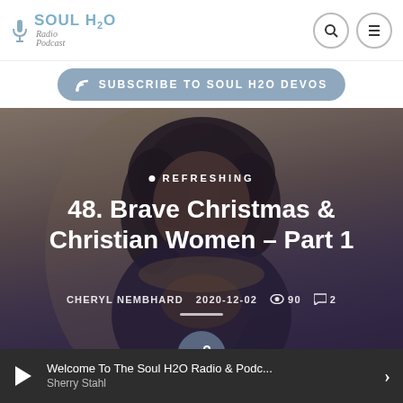SOUL H2O Radio Podcast
SUBSCRIBE TO SOUL H2O DEVOS
[Figure (photo): A smiling Black woman in a dark top, with wavy hair, posing with her hands clasped near her chin. Background is warm neutral tones.]
REFRESHING
48. Brave Christmas & Christian Women – Part 1
CHERYL NEMBHARD  2020-12-02  👁 90  💬 2
Welcome To The Soul H2O Radio & Podc... Sherry Stahl